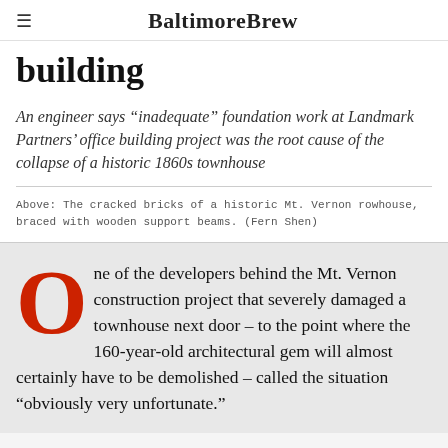BaltimoreBrew
building
An engineer says “inadequate” foundation work at Landmark Partners’ office building project was the root cause of the collapse of a historic 1860s townhouse
Above: The cracked bricks of a historic Mt. Vernon rowhouse, braced with wooden support beams. (Fern Shen)
One of the developers behind the Mt. Vernon construction project that severely damaged a townhouse next door – to the point where the 160-year-old architectural gem will almost certainly have to be demolished – called the situation “obviously very unfortunate.”